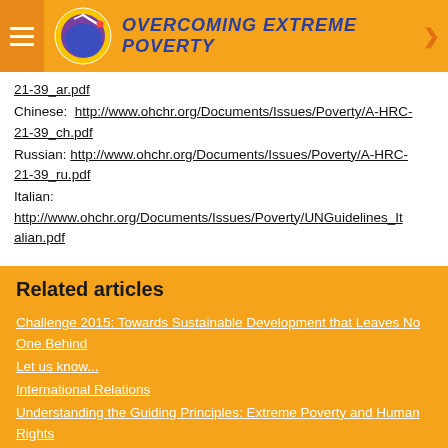OVERCOMING EXTREME POVERTY
21-39_ar.pdf
Chinese: http://www.ohchr.org/Documents/Issues/Poverty/A-HRC-21-39_ch.pdf
Russian: http://www.ohchr.org/Documents/Issues/Poverty/A-HRC-21-39_ru.pdf
Italian:
http://www.ohchr.org/Documents/Issues/Poverty/UNGuidelines_Italian.pdf
Related articles
Challenge 2015: Towards Sustainable Development that Leaves No One Behind
Let us know...
International Relations
Understanding the Guiding Principles: Extreme Poverty and Human Rights
Sustainable Development Goals (SDGs) 2015-2030: